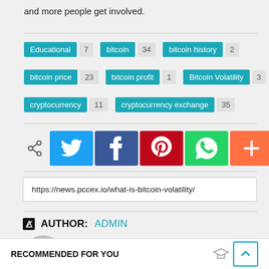and more people get involved.
Educational 7  bitcoin 34  bitcoin history 2
bitcoin price 23  bitcoin profit 1  Bitcoin Volatility 3
cryptocurrency 11  cryptocurrency exchange 35
[Figure (infographic): Social share buttons: share icon, Twitter, Facebook, Pinterest, WhatsApp, plus button]
https://news.pccex.io/what-is-bitcoin-volatility/
AUTHOR: ADMIN
[Figure (illustration): Grey avatar/user silhouette icon]
RECOMMENDED FOR YOU